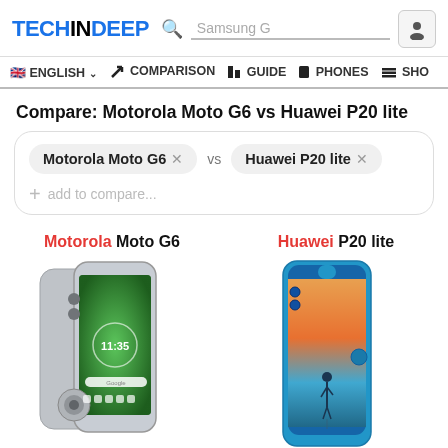TECHINDEEP — Samsung G search bar — user icon
🇬🇧 ENGLISH ∨  ✖ COMPARISON  📱 GUIDE  📱 PHONES  📋 SHO
Compare: Motorola Moto G6 vs Huawei P20 lite
Motorola Moto G6 × vs Huawei P20 lite ×  + add to compare...
Motorola Moto G6
Huawei P20 lite
[Figure (photo): Motorola Moto G6 smartphone photo — silver/grey dual-camera phone with green screen wallpaper]
[Figure (photo): Huawei P20 lite smartphone photo — blue phone with notch screen showing woman on beach wallpaper]